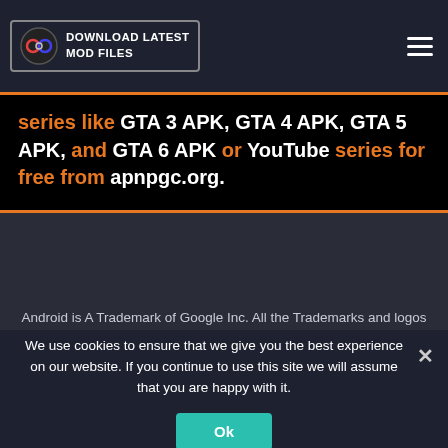DOWNLOAD LATEST MOD FILES
series like GTA 3 APK, GTA 4 APK, GTA 5 APK, and GTA 6 APK or YouTube series for free from apnpgc.org.
Android is A Trademark of Google Inc. All the Trademarks and logos Belongs To Their Respective Owners. Our Website Shares Content For Education Purpose Only.
We use cookies to ensure that we give you the best experience on our website. If you continue to use this site we will assume that you are happy with it.